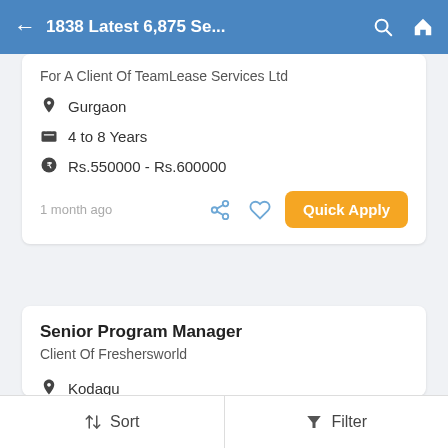1838 Latest 6,875 Se...
For A Client Of TeamLease Services Ltd
Gurgaon
4 to 8 Years
Rs.550000 - Rs.600000
1 month ago
Senior Program Manager
Client Of Freshersworld
Kodagu
Fresher
Sort   Filter